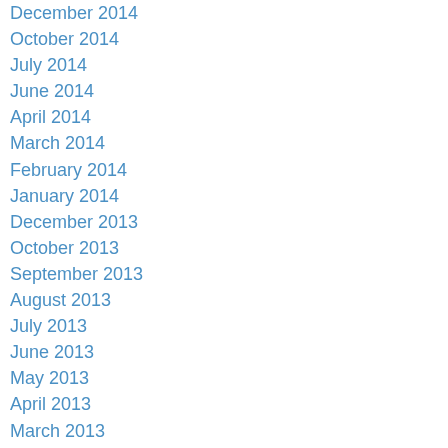December 2014
October 2014
July 2014
June 2014
April 2014
March 2014
February 2014
January 2014
December 2013
October 2013
September 2013
August 2013
July 2013
June 2013
May 2013
April 2013
March 2013
February 2013
January 2013
December 2012
Categories